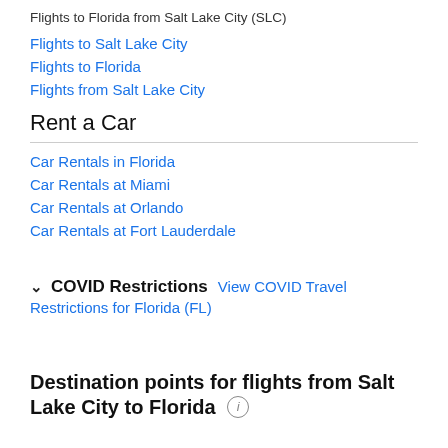Flights to Florida from Salt Lake City (SLC)
Flights to Salt Lake City
Flights to Florida
Flights from Salt Lake City
Rent a Car
Car Rentals in Florida
Car Rentals at Miami
Car Rentals at Orlando
Car Rentals at Fort Lauderdale
COVID Restrictions  View COVID Travel Restrictions for Florida (FL)
Destination points for flights from Salt Lake City to Florida